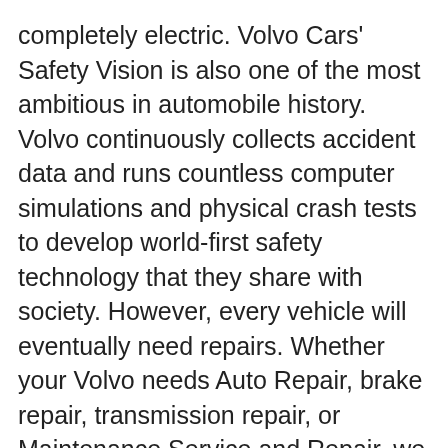completely electric. Volvo Cars' Safety Vision is also one of the most ambitious in automobile history. Volvo continuously collects accident data and runs countless computer simulations and physical crash tests to develop world-first safety technology that they share with society. However, every vehicle will eventually need repairs. Whether your Volvo needs Auto Repair, brake repair, transmission repair, or Maintenance Service and Repair, we at Dennis George Automotive can take care of your car, bumper to bumper. We are located in the 93555 area.
Reasons You Should Do Business With Us